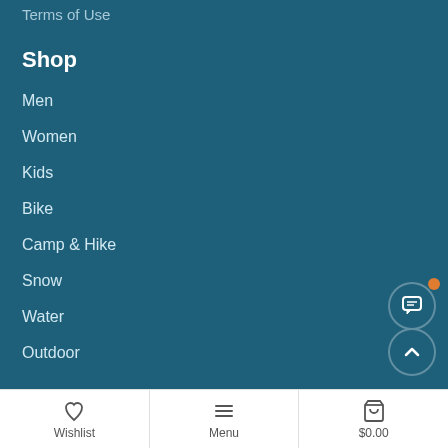Terms of Use
Shop
Men
Women
Kids
Bike
Camp & Hike
Snow
Water
Outdoor
Locations
South Lake Tahoe
Truckee
Wishlist | Menu | $0.00